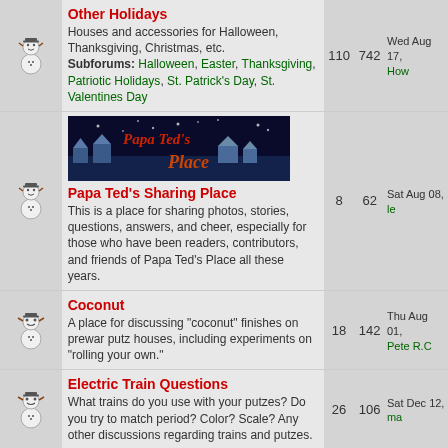| Icon | Forum | Topics | Posts | Last Post |
| --- | --- | --- | --- | --- |
| [snowman] | Other Holidays
Houses and accessories for Halloween, Thanksgiving, Christmas, etc.
Subforums: Halloween, Easter, Thanksgiving, Patriotic Holidays, St. Patrick's Day, St. Valentines Day | 110 | 742 | Wed Aug 17,
How |
| [snowman] | Papa Ted's Sharing Place
This is a place for sharing photos, stories, questions, answers, and cheer, especially for those who have been readers, contributors, and friends of Papa Ted's Place all these years. | 8 | 62 | Sat Aug 08,
le |
| [snowman] | Coconut
A place for discussing "coconut" finishes on prewar putz houses, including experiments on "rolling your own." | 18 | 142 | Thu Aug 01,
Pete R.C |
| [snowman] | Electric Train Questions
What trains do you use with your putzes? Do you try to match period? Color? Scale? Any other discussions regarding trains and putzes. | 26 | 106 | Sat Dec 12,
ma |
| [snowman] | My Workspace
Please share how you organize your workspace, tools, and other resources for your putz-building and related projects. | 3 | 20 | Wed Jan 10,
paulm |